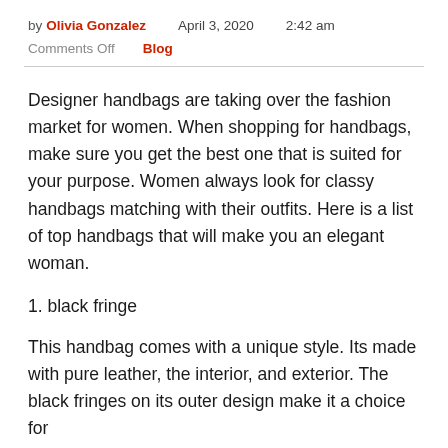by Olivia Gonzalez   April 3, 2020   2:42 am
Comments Off   Blog
Designer handbags are taking over the fashion market for women. When shopping for handbags, make sure you get the best one that is suited for your purpose. Women always look for classy handbags matching with their outfits. Here is a list of top handbags that will make you an elegant woman.
1. black fringe
This handbag comes with a unique style. Its made with pure leather, the interior, and exterior. The black fringes on its outer design make it a choice for